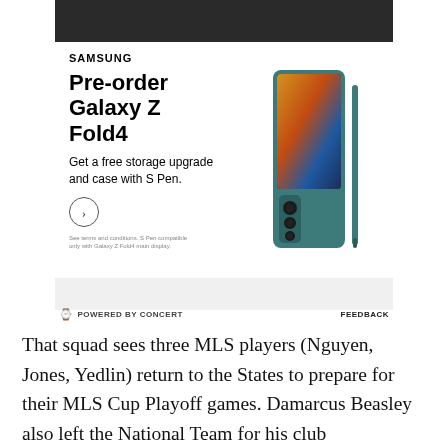[Figure (photo): Samsung advertisement for Galaxy Z Fold4 pre-order showing the phone with S Pen and text: 'Pre-order Galaxy Z Fold4 - Get a free storage upgrade and case with S Pen.' with a call-to-action arrow button and fine print. Powered by Concert bar below with Feedback link.]
That squad sees three MLS players (Nguyen, Jones, Yedlin) return to the States to prepare for their MLS Cup Playoff games. Damarcus Beasley also left the National Team for his club responsibilities. That leaves an American squad with the likes of Rubin Rubio (who